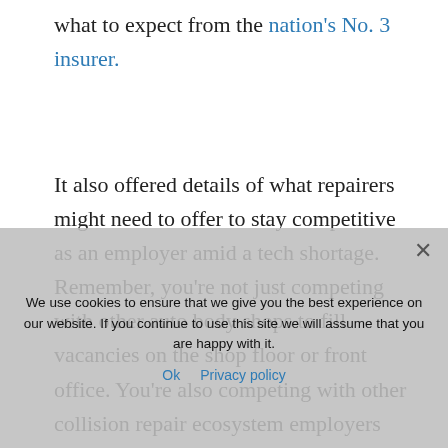what to expect from the nation's No. 3 insurer.
It also offered details of what repairers might need to offer to stay competitive as an employer amid a tech shortage. Remember, you're not just competing with other auto body shops to fill vacancies on the shop floor or front office. You're also competing with other collision repair ecosystem employers like insurers.
Lenane said the vacancies reflected a mix of turnover but also employees who've moved laterally or been promoted within Progressive. "We have a heavy culture of internal mobility," he said.